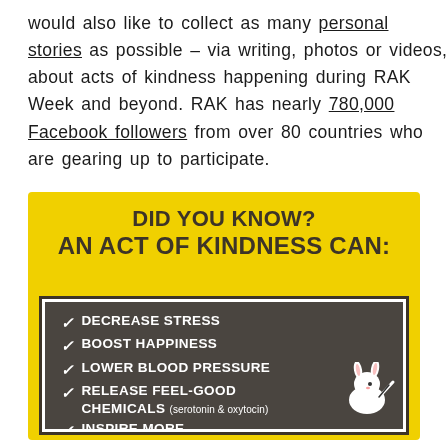would also like to collect as many personal stories as possible – via writing, photos or videos, about acts of kindness happening during RAK Week and beyond. RAK has nearly 780,000 Facebook followers from over 80 countries who are gearing up to participate.
[Figure (infographic): Yellow infographic panel titled 'DID YOU KNOW? AN ACT OF KINDNESS CAN:' with a dark grey checklist box containing items: DECREASE STRESS, BOOST HAPPINESS, LOWER BLOOD PRESSURE, RELEASE FEEL-GOOD CHEMICALS (serotonin & oxytocin), INSPIRE MORE. Each item preceded by a checkmark. A cartoon bunny character is in the bottom right corner.]